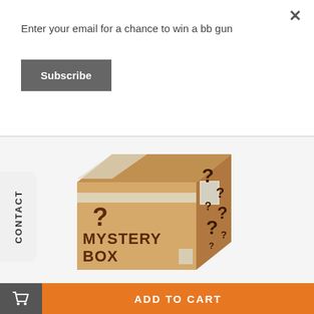Enter your email for a chance to win a bb gun
Subscribe
[Figure (photo): A cardboard mystery box with question marks printed on it and the text MYSTERY BOX on the front face]
mystery box
£29.99
ADD TO CART